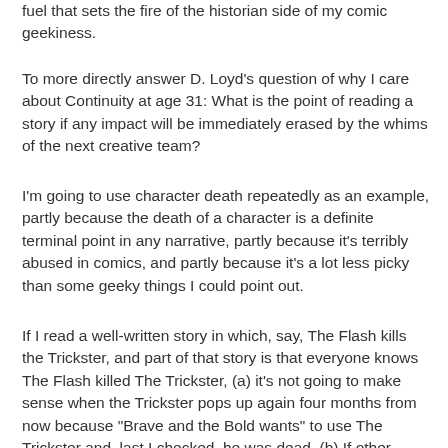fuel that sets the fire of the historian side of my comic geekiness.
To more directly answer D. Loyd's question of why I care about Continuity at age 31: What is the point of reading a story if any impact will be immediately erased by the whims of the next creative team?
I'm going to use character death repeatedly as an example, partly because the death of a character is a definite terminal point in any narrative, partly because it's terribly abused in comics, and partly because it's a lot less picky than some geeky things I could point out.
If I read a well-written story in which, say, The Flash kills the Trickster, and part of that story is that everyone knows The Flash killed The Trickster, (a) it's not going to make sense when the Trickster pops up again four months from now because "Brave and the Bold wants" to use The Trickster and, last I checked, he was dead. (b) If other characters are aware that The Flash is capable of murder, wouldn't they treat him with the proper caution? If never refer to those events, seriously, at that becomes of frame? (c) What did...